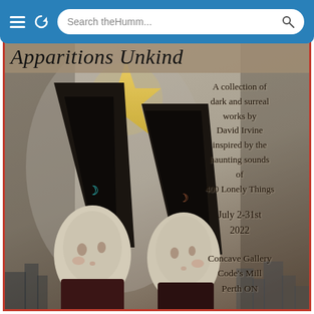[Figure (screenshot): Mobile browser bar with hamburger menu, refresh icon, and search field showing 'Search theHumm...']
[Figure (illustration): Art exhibition poster for 'Apparitions Unkind' (title partially visible at top). Shows two surreal figures wearing tall black pointed hats with crescent moon symbols, pale faces with melancholy expressions, set against a muted grey/golden background with a large golden star above them. Right side contains text overlay with exhibition details.]
Apparitions Unkind
A collection of dark and surreal works by David Irvine inspired by the haunting sounds of 400 Lonely Things
July 2-31st 2022
Concave Gallery Code's Mill Perth ON